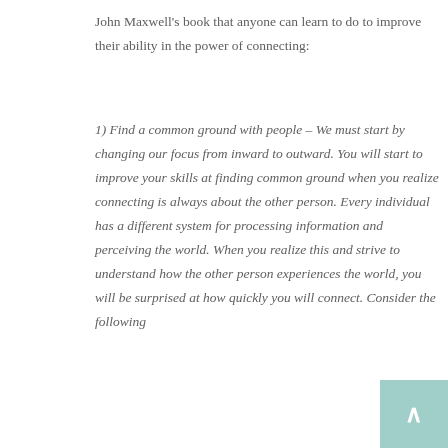John Maxwell's book that anyone can learn to do to improve their ability in the power of connecting:
1) Find a common ground with people – We must start by changing our focus from inward to outward. You will start to improve your skills at finding common ground when you realize connecting is always about the other person. Every individual has a different system for processing information and perceiving the world. When you realize this and strive to understand how the other person experiences the world, you will be surprised at how quickly you will connect. Consider the following